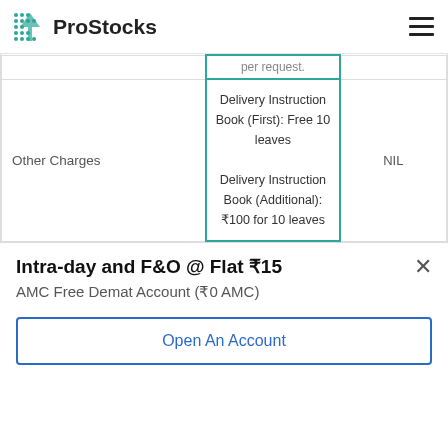ProStocks
|  | ProStocks |  |
| --- | --- | --- |
| Other Charges | Delivery Instruction Book (First): Free 10 leaves
Delivery Instruction Book (Additional): ₹100 for 10 leaves | NIL |
Intra-day and F&O @ Flat ₹15
AMC Free Demat Account (₹0 AMC)
Open An Account